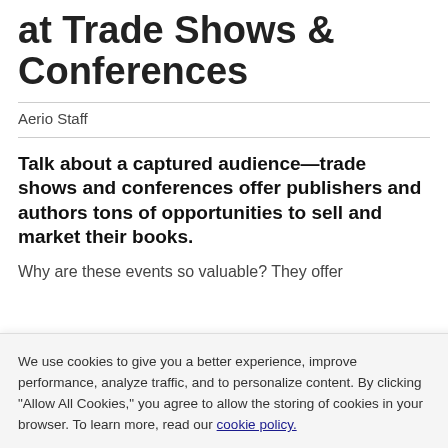at Trade Shows & Conferences
Aerio Staff
Talk about a captured audience—trade shows and conferences offer publishers and authors tons of opportunities to sell and market their books.
Why are these events so valuable? They offer
We use cookies to give you a better experience, improve performance, analyze traffic, and to personalize content. By clicking "Allow All Cookies," you agree to allow the storing of cookies in your browser. To learn more, read our cookie policy.